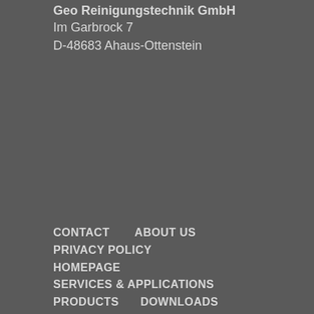Geo Reinigungstechnik GmbH
Im Garbrock 7
D-48683 Ahaus-Ottenstein
CONTACT    ABOUT US
PRIVACY POLICY
HOMEPAGE
SERVICES & APPLICATIONS
PRODUCTS    DOWNLOADS